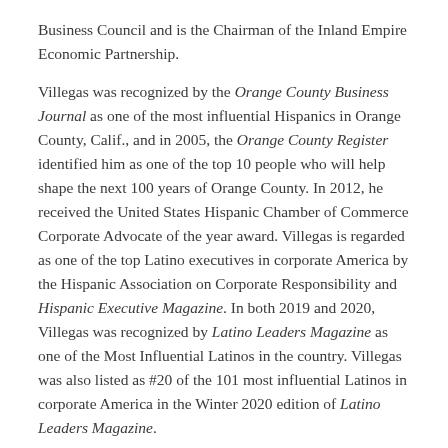Business Council and is the Chairman of the Inland Empire Economic Partnership.
Villegas was recognized by the Orange County Business Journal as one of the most influential Hispanics in Orange County, Calif., and in 2005, the Orange County Register identified him as one of the top 10 people who will help shape the next 100 years of Orange County. In 2012, he received the United States Hispanic Chamber of Commerce Corporate Advocate of the year award. Villegas is regarded as one of the top Latino executives in corporate America by the Hispanic Association on Corporate Responsibility and Hispanic Executive Magazine. In both 2019 and 2020, Villegas was recognized by Latino Leaders Magazine as one of the Most Influential Latinos in the country. Villegas was also listed as #20 of the 101 most influential Latinos in corporate America in the Winter 2020 edition of Latino Leaders Magazine.
About Mercury